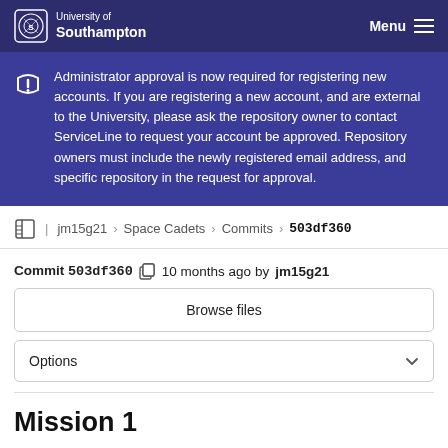University of Southampton | Menu
Administrator approval is now required for registering new accounts. If you are registering a new account, and are external to the University, please ask the repository owner to contact ServiceLine to request your account be approved. Repository owners must include the newly registered email address, and specific repository in the request for approval.
jm15g21 > Space Cadets > Commits > 503df360
Commit 503df360   10 months ago by jm15g21
Browse files
Options
Mission 1